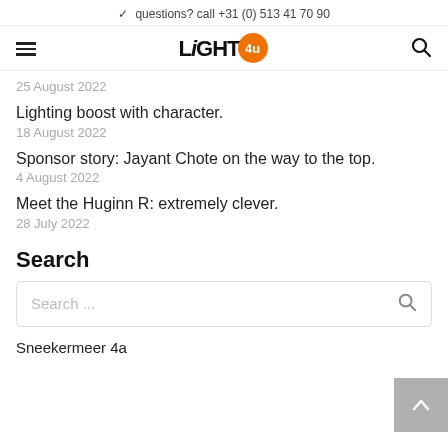✓ questions? call +31 (0) 513 41 70 90
[Figure (logo): Light4u logo with orange circle badge containing '4u']
25 August 2022
Lighting boost with character.
18 August 2022
Sponsor story: Jayant Chote on the way to the top.
4 August 2022
Meet the Huginn R: extremely clever.
28 July 2022
Search
Search ...
Sneekermeer 4a